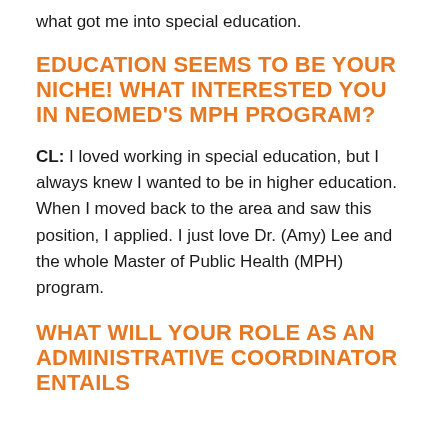what got me into special education.
EDUCATION SEEMS TO BE YOUR NICHE! WHAT INTERESTED YOU IN NEOMED'S MPH PROGRAM?
CL: I loved working in special education, but I always knew I wanted to be in higher education. When I moved back to the area and saw this position, I applied. I just love Dr. (Amy) Lee and the whole Master of Public Health (MPH) program.
WHAT WILL YOUR ROLE AS AN ADMINISTRATIVE COORDINATOR ENTAILS...